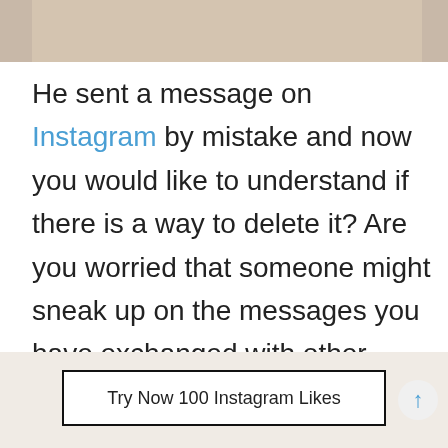[Figure (photo): Partial photo strip at top of page showing a person, cropped]
He sent a message on Instagram by mistake and now you would like to understand if there is a way to delete it? Are you worried that someone might sneak up on the messages you have exchanged with other Instagram users, and for this reason, would
Try Now 100 Instagram Likes